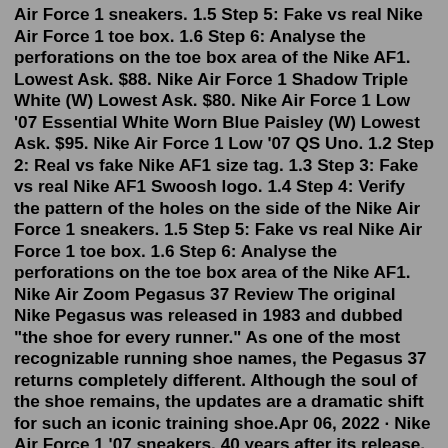Air Force 1 sneakers. 1.5 Step 5: Fake vs real Nike Air Force 1 toe box. 1.6 Step 6: Analyse the perforations on the toe box area of the Nike AF1. Lowest Ask. $88. Nike Air Force 1 Shadow Triple White (W) Lowest Ask. $80. Nike Air Force 1 Low '07 Essential White Worn Blue Paisley (W) Lowest Ask. $95. Nike Air Force 1 Low '07 QS Uno. 1.2 Step 2: Real vs fake Nike AF1 size tag. 1.3 Step 3: Fake vs real Nike AF1 Swoosh logo. 1.4 Step 4: Verify the pattern of the holes on the side of the Nike Air Force 1 sneakers. 1.5 Step 5: Fake vs real Nike Air Force 1 toe box. 1.6 Step 6: Analyse the perforations on the toe box area of the Nike AF1. Nike Air Zoom Pegasus 37 Review The original Nike Pegasus was released in 1983 and dubbed "the shoe for every runner." As one of the most recognizable running shoe names, the Pegasus 37 returns completely different. Although the soul of the shoe remains, the updates are a dramatic shift for such an iconic training shoe.Apr 06, 2022 · Nike Air Force 1 '07 sneakers. 40 years after its release, the Nike Air Force 1 will always deliver on the The...